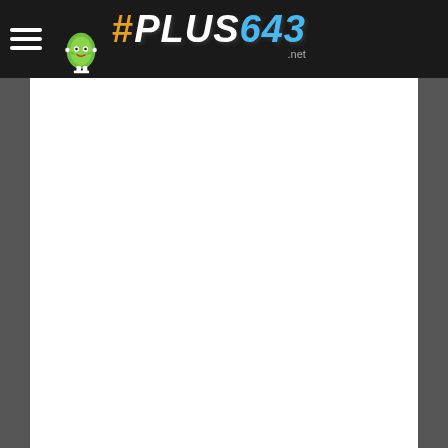#PLUS643 .net
[Figure (illustration): Grid of repeated green corn/pea mascot pixel-art characters arranged in rows and columns on a white background. The mascot is a green oval/diamond shaped character with eyes, smile, arms raised, and white feet. Approximately 9 columns × 10+ rows of these sprites fill the page content area. Some cells in the grid are empty, creating a pattern.]